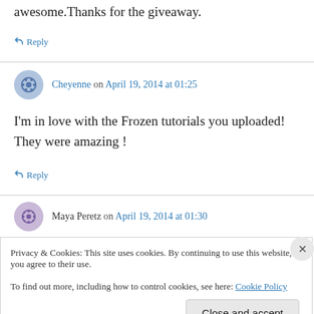awesome.Thanks for the giveaway.
↳ Reply
Cheyenne on April 19, 2014 at 01:25
I'm in love with the Frozen tutorials you uploaded! They were amazing !
↳ Reply
Maya Peretz on April 19, 2014 at 01:30
Privacy & Cookies: This site uses cookies. By continuing to use this website, you agree to their use. To find out more, including how to control cookies, see here: Cookie Policy
Close and accept